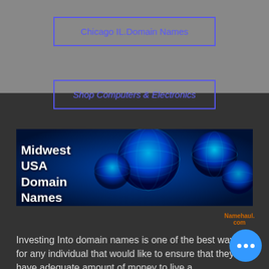Chicago IL.Domain Names
Shop Computers & Electronics
[Figure (illustration): Banner image with blue digital globe spheres and text 'Midwest USA Domain Names' overlaid in bold white/dark text on the left side]
Namehaul.com
Investing Into domain names is one of the best ways for any individual that would like to ensure that they have adequate amount of money to live a